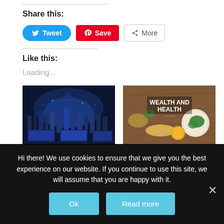Share this:
Tweet | Save | More
Like this:
Loading...
[Figure (photo): Tech/digital city with computers and blue neon lights]
[Figure (photo): Wealth and Health book/article cover with food on wooden table]
Hi there! We use cookies to ensure that we give you the best experience on our website. If you continue to use this site, we will assume that you are happy with it.
Ok | Read more